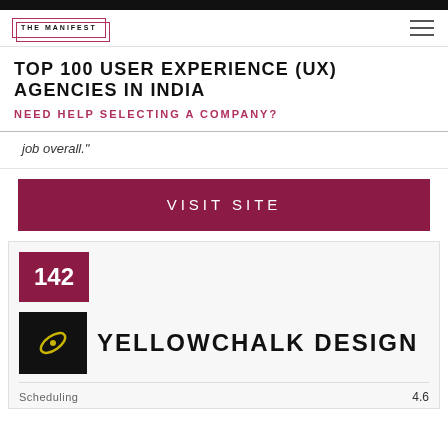THE MANIFEST
TOP 100 USER EXPERIENCE (UX) AGENCIES IN INDIA
NEED HELP SELECTING A COMPANY?
job overall."
VISIT SITE
142
YELLOWCHALK DESIGN
|  | Scheduling | 4.6 |
| --- | --- | --- |